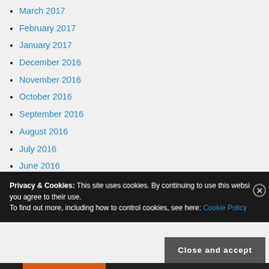March 2017
February 2017
January 2017
December 2016
November 2016
October 2016
September 2016
August 2016
July 2016
June 2016
May 2016
Privacy & Cookies: This site uses cookies. By continuing to use this website, you agree to their use. To find out more, including how to control cookies, see here: Cookie Policy
Close and accept